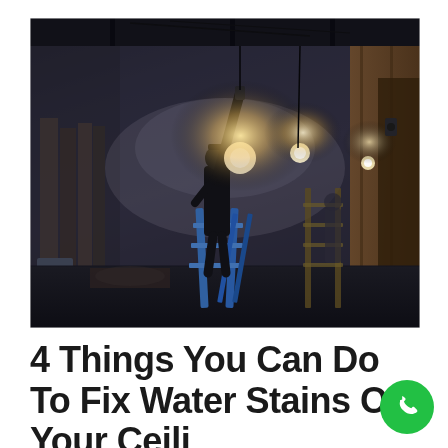[Figure (photo): A person standing on a blue stepladder in a construction/renovation space, reaching up to work on the ceiling. Bright work lights illuminate the scene. Construction materials are stacked in the background. The room has exposed framework and wooden elements.]
4 Things You Can Do To Fix Water Stains On Your Ceili
Condimentum / By Myrtle Beach Painters